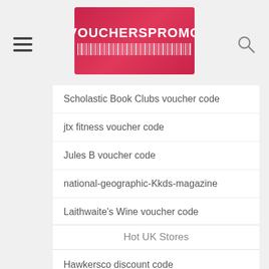VOUCHERSPROMO
Scholastic Book Clubs voucher code
jtx fitness voucher code
Jules B voucher code
national-geographic-Kkds-magazine
Laithwaite's Wine voucher code
Pure Leisure voucher code
Hughes Direct voucher code
Siblu Holidays UK voucher code
Hot UK Stores
Hawkersco discount code